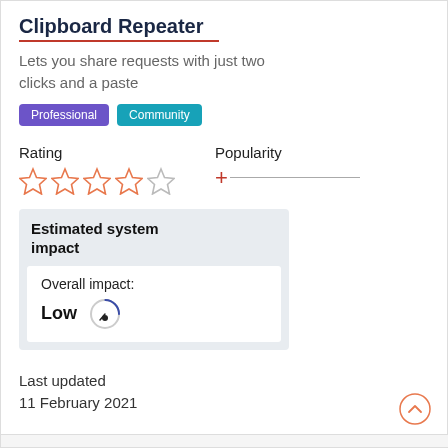Clipboard Repeater
Lets you share requests with just two clicks and a paste
Professional  Community
Rating
Popularity
Estimated system impact
Overall impact: Low
Last updated
11 February 2021